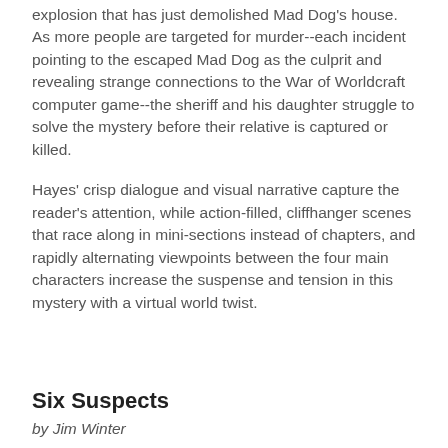explosion that has just demolished Mad Dog's house. As more people are targeted for murder--each incident pointing to the escaped Mad Dog as the culprit and revealing strange connections to the War of Worldcraft computer game--the sheriff and his daughter struggle to solve the mystery before their relative is captured or killed.
Hayes' crisp dialogue and visual narrative capture the reader's attention, while action-filled, cliffhanger scenes that race along in mini-sections instead of chapters, and rapidly alternating viewpoints between the four main characters increase the suspense and tension in this mystery with a virtual world twist.
Six Suspects
by Jim Winter
A top Bollywood actress. The powerful Home Minister for India's most populous state. A cell phone thief. A